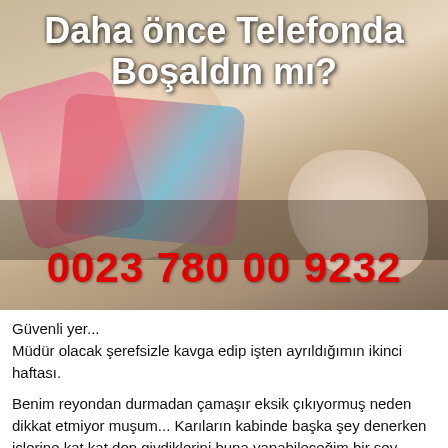[Figure (photo): Photo with overlaid text showing Turkish text headline and a phone number in red on a photo background]
Güvenli yer...
Müdür olacak şerefsizle kavga edip işten ayrıldığımın ikinci haftası.
Benim reyondan durmadan çamaşır eksik çıkıyormuş neden dikkat etmiyor muşum... Karıların kabinde başka şey denerken içlerine kat kat don giydiklerini buna yapabileceğim bir şey olmadığını söylediğimde bir araba laf etti. "yanlarında dur şende" dedi bende "elalemin karısıyla